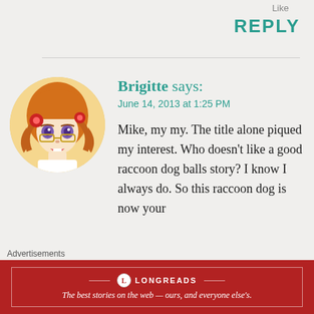Like
REPLY
[Figure (illustration): Circular avatar illustration of a red-haired girl wearing glasses with flowers in her hair, manga/anime art style]
Brigitte says:
June 14, 2013 at 1:25 PM
Mike, my my. The title alone piqued my interest. Who doesn't like a good raccoon dog balls story? I know I always do. So this raccoon dog is now your
Advertisements
LONGREADS
The best stories on the web — ours, and everyone else's.